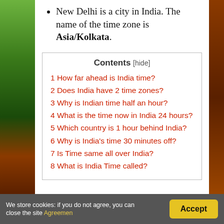New Delhi is a city in India. The name of the time zone is Asia/Kolkata.
Contents [hide]
1 How far ahead is India time?
2 Does India have 2 time zones?
3 Why is Indian time half an hour?
4 What is the time now in India 24 hours?
5 Which country is 1 hour behind India?
6 Why is India's time 30 minutes off?
7 Is Time same all over India?
8 What is India Time called?
We store cookies: if you do not agree, you can close the site Agreemen